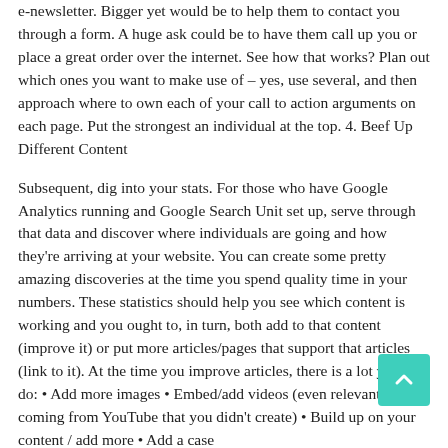e-newsletter. Bigger yet would be to help them to contact you through a form. A huge ask could be to have them call up you or place a great order over the internet. See how that works? Plan out which ones you want to make use of – yes, use several, and then approach where to own each of your call to action arguments on each page. Put the strongest an individual at the top. 4. Beef Up Different Content
Subsequent, dig into your stats. For those who have Google Analytics running and Google Search Unit set up, serve through that data and discover where individuals are going and how they're arriving at your website. You can create some pretty amazing discoveries at the time you spend quality time in your numbers. These statistics should help you see which content is working and you ought to, in turn, both add to that content (improve it) or put more articles/pages that support that articles (link to it). At the time you improve articles, there is a lot you can do: • Add more images • Embed/add videos (even relevant videos coming from YouTube that you didn't create) • Build up on your content / add more • Add a case